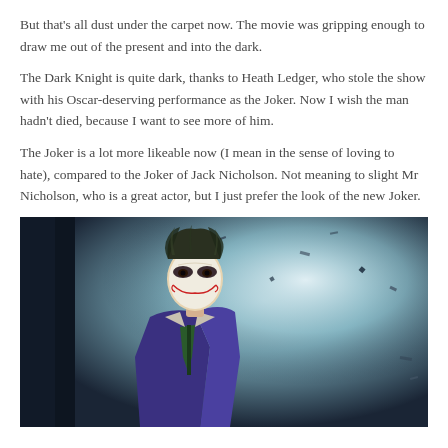But that's all dust under the carpet now. The movie was gripping enough to draw me out of the present and into the dark.
The Dark Knight is quite dark, thanks to Heath Ledger, who stole the show with his Oscar-deserving performance as the Joker. Now I wish the man hadn't died, because I want to see more of him.
The Joker is a lot more likeable now (I mean in the sense of loving to hate), compared to the Joker of Jack Nicholson. Not meaning to slight Mr Nicholson, who is a great actor, but I just prefer the look of the new Joker.
[Figure (photo): The Joker (Heath Ledger) in The Dark Knight — figure in a purple suit with white face paint and green hair, set against a dark blue-grey explosive background]